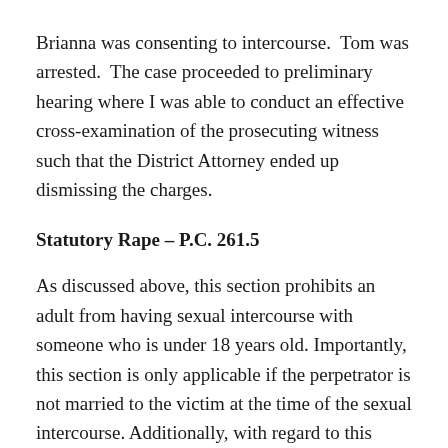Brianna was consenting to intercourse. Tom was arrested. The case proceeded to preliminary hearing where I was able to conduct an effective cross-examination of the prosecuting witness such that the District Attorney ended up dismissing the charges.
Statutory Rape – P.C. 261.5
As discussed above, this section prohibits an adult from having sexual intercourse with someone who is under 18 years old. Importantly, this section is only applicable if the perpetrator is not married to the victim at the time of the sexual intercourse. Additionally, with regard to this statute, the extent of the sexual penetration is irrelevant. The key issue